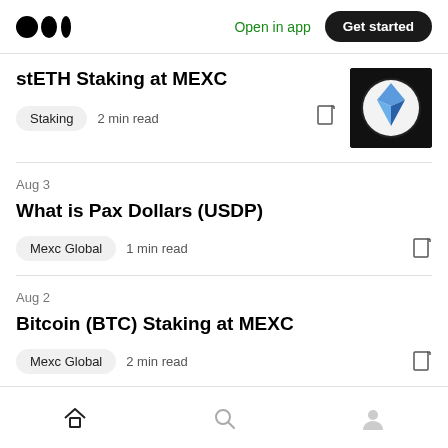Open in app | Get started
stETH Staking at MEXC
Staking · 2 min read
Aug 3
What is Pax Dollars (USDP)
Mexc Global · 1 min read
Aug 2
Bitcoin (BTC) Staking at MEXC
Mexc Global · 2 min read
Home | Search | Profile